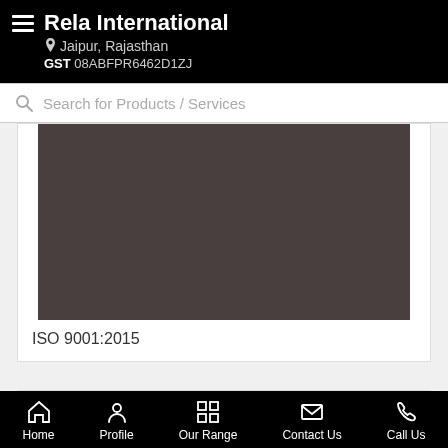Rela International — Jaipur, Rajasthan — GST 08ABFPR6462D1ZJ
Search for Products / Services
[Figure (photo): Dark brownish-grey product image placeholder rectangle]
ISO 9001:2015
Home | Profile | Our Range | Contact Us | Call Us